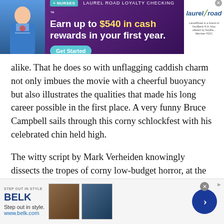[Figure (infographic): Laurel Road Loyalty Checking advertisement banner. Purple background. Nurse photo on left. Text: '+NURSES LAUREL ROAD LOYALTY CHECKING TM. Earn up to $540 in cash rewards in your first year. Get Started button. Laurel Road logo on right with small print.]
alike. That he does so with unflagging caddish charm not only imbues the movie with a cheerful buoyancy but also illustrates the qualities that made his long career possible in the first place. A very funny Bruce Campbell sails through this corny schlockfest with his celebrated chin held high.
The witty script by Mark Verheiden knowingly dissects the tropes of corny low-budget horror, at the same time mining Campbell’s extensive catalog for references only true fans will appreciate. From the moment Taylor Shams declares the amulet that frees...
[Figure (infographic): Belk advertisement banner at bottom. White/light grey background. STEP OUT IN STYLE text. BELK logo in navy blue. Step out in style. www.belk.com tagline. Two fashion thumbnail images. Blue circle arrow button on right. X close button and ads icon.]